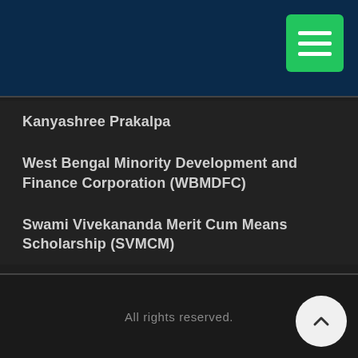Kanyashree Prakalpa
West Bengal Minority Development and Finance Corporation (WBMDFC)
Swami Vivekananda Merit Cum Means Scholarship (SVMCM)
All rights reserved.